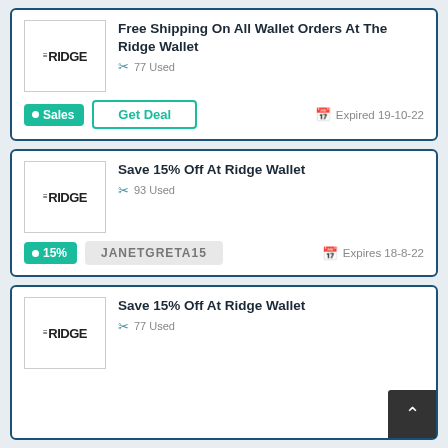[Figure (logo): THE RIDGE logo in card 1]
Free Shipping On All Wallet Orders At The Ridge Wallet
77 Used
Sales
Get Deal
Expired 19-10-22
[Figure (logo): THE RIDGE logo in card 2]
Save 15% Off At Ridge Wallet
93 Used
15%
JANETGRETA15
Expires 18-8-22
[Figure (logo): THE RIDGE logo in card 3]
Save 15% Off At Ridge Wallet
77 Used